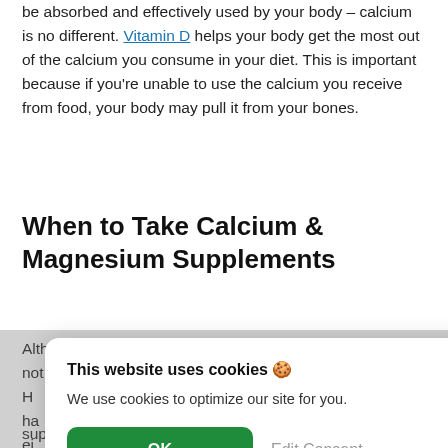be absorbed and effectively used by your body – calcium is no different. Vitamin D helps your body get the most out of the calcium you consume in your diet. This is important because if you're unable to use the calcium you receive from food, your body may pull it from your bones.
When to Take Calcium & Magnesium Supplements
Although you need both calcium and magnesium, you do not necessarily have to take them in the same tablet. H... ha... ei... C... m...
[Figure (screenshot): Cookie consent overlay with title 'This website uses cookies 🍪', body text 'We use cookies to optimize our site for you.', an OK button (green) and an Edit Consent button (gray).]
supplement which all supplements must report—